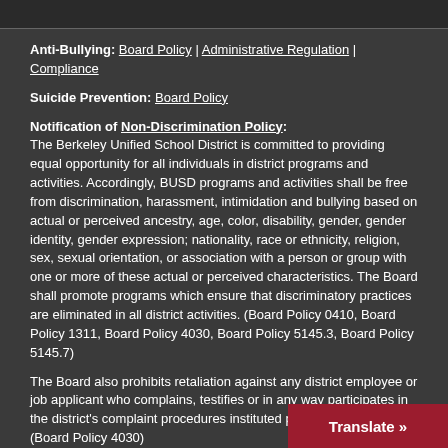Anti-Bullying: Board Policy | Administrative Regulation | Compliance
Suicide Prevention: Board Policy
Notification of Non-Discrimination Policy:
The Berkeley Unified School District is committed to providing equal opportunity for all individuals in district programs and activities. Accordingly, BUSD programs and activities shall be free from discrimination, harassment, intimidation and bullying based on actual or perceived ancestry, age, color, disability, gender, gender identity, gender expression; nationality, race or ethnicity, religion, sex, sexual orientation, or association with a person or group with one or more of these actual or perceived characteristics. The Board shall promote programs which ensure that discriminatory practices are eliminated in all district activities. (Board Policy 0410, Board Policy 1311, Board Policy 4030, Board Policy 5145.3, Board Policy 5145.7)
The Board also prohibits retaliation against any district employee or job applicant who complains, testifies or in any way participates in the district's complaint procedures instituted pursuant to this policy. (Board Policy 4030)
Complaint forms are available at school sites and webpage at www.berkeleyschools.net/complaints